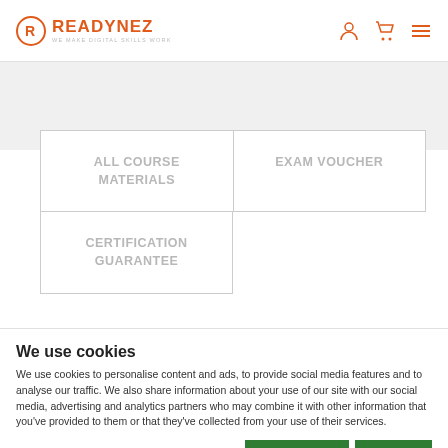[Figure (logo): Readynez logo with orange circle R icon and text 'READYNEZ - WE MAKE DIGITAL SKILLS WORK']
ALL COURSE MATERIALS
EXAM VOUCHER
CERTIFICATION GUARANTEE
BUY NOW
We use cookies
We use cookies to personalise content and ads, to provide social media features and to analyse our traffic. We also share information about your use of our site with our social media, advertising and analytics partners who may combine it with other information that you've provided to them or that they've collected from your use of their services.
Allow selection
Allow all